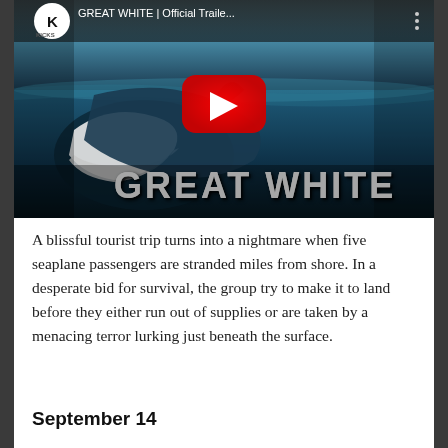[Figure (screenshot): YouTube video thumbnail for 'GREAT WHITE | Official Traile...' showing a great white shark with open jaws underwater, a YouTube play button overlay in red/white, and the title 'GREAT WHITE' in large white bold text. The Kicks channel logo and name appear in the top-left corner.]
A blissful tourist trip turns into a nightmare when five seaplane passengers are stranded miles from shore. In a desperate bid for survival, the group try to make it to land before they either run out of supplies or are taken by a menacing terror lurking just beneath the surface.
September 14